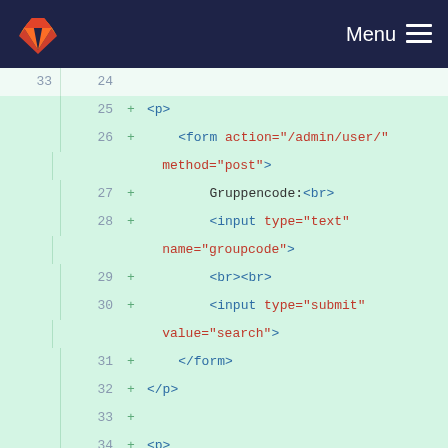GitLab navbar with logo and Menu
[Figure (screenshot): Code diff viewer showing HTML code lines 24-39 with line numbers, plus signs for additions, and syntax highlighting on a light green background]
33  24
25 + <p>
26 +     <form action="/admin/user/" method="post">
27 +         Gruppencode:<br>
28 +         <input type="text" name="groupcode">
29 +         <br><br>
30 +         <input type="submit" value="search">
31 +     </form>
32 + </p>
33 +
34 + <p>
35 +     <form action="/admin/user/" method="post">
36 +         ID:<br>
37 +         <input type="text" name="id">
38 +         <br><br>
39 +         <input type="submit"